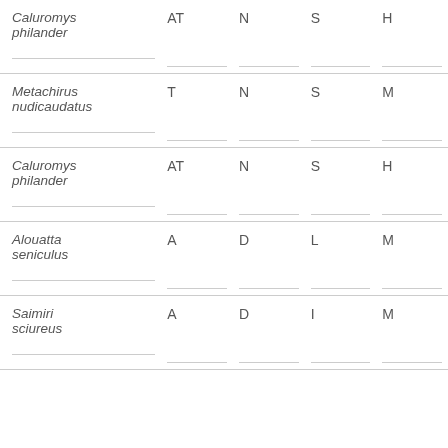| Caluromys philander | AT | N | S | H |
| Metachirus nudicaudatus | T | N | S | M |
| Caluromys philander | AT | N | S | H |
| Alouatta seniculus | A | D | L | M |
| Saimiri sciureus | A | D | I | M |